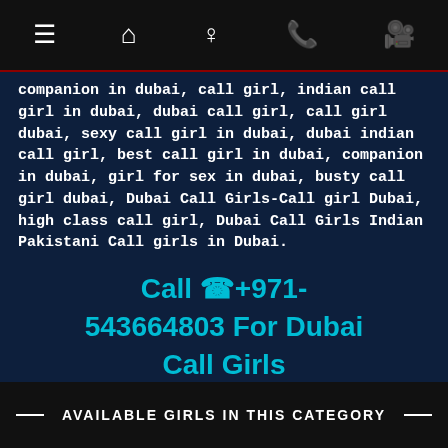[Figure (screenshot): Navigation bar with hamburger menu, home, person, phone, and video camera icons on black background]
companion in dubai, call girl, indian call girl in dubai, dubai call girl, call girl dubai, sexy call girl in dubai, dubai indian call girl, best call girl in dubai, companion in dubai, girl for sex in dubai, busty call girl dubai, Dubai Call Girls-Call girl Dubai, high class call girl, Dubai Call Girls Indian Pakistani Call girls in Dubai.
Call ☎+971-543664803 For Dubai Call Girls
AVAILABLE GIRLS IN THIS CATEGORY